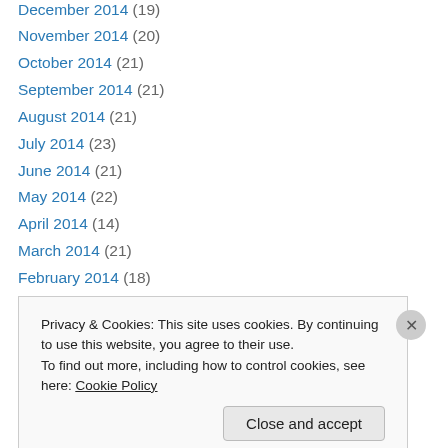December 2014 (19)
November 2014 (20)
October 2014 (21)
September 2014 (21)
August 2014 (21)
July 2014 (23)
June 2014 (21)
May 2014 (22)
April 2014 (14)
March 2014 (21)
February 2014 (18)
January 2014 (23)
December 2013 (18)
November 2013 (22)
Privacy & Cookies: This site uses cookies. By continuing to use this website, you agree to their use. To find out more, including how to control cookies, see here: Cookie Policy
Close and accept